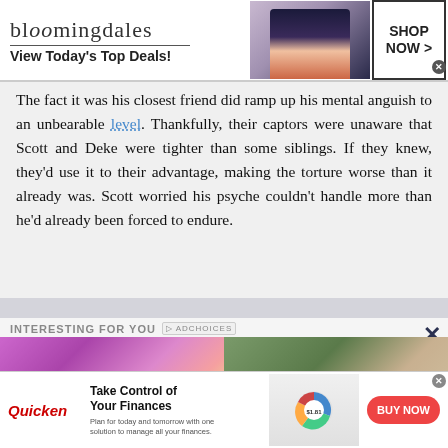[Figure (screenshot): Bloomingdale's advertisement banner: logo text 'bloomingdales', tagline 'View Today's Top Deals!', woman with large hat, 'SHOP NOW >' button in box]
The fact it was his closest friend did ramp up his mental anguish to an unbearable level. Thankfully, their captors were unaware that Scott and Deke were tighter than some siblings. If they knew, they'd use it to their advantage, making the torture worse than it already was. Scott worried his psyche couldn't handle more than he'd already been forced to endure.
[Figure (screenshot): Partially visible text line obscured by gray overlay bar]
[Figure (infographic): INTERESTING FOR YOU section with AdChoices badge and X close button, two thumbnail images side by side (purple/colorful image left, woman outdoors right)]
[Figure (screenshot): Quicken advertisement: logo 'Quicken', headline 'Take Control of Your Finances', subtext 'Plan for today and tomorrow with one solution to manage all your finances.', pie chart graphic, 'BUY NOW' red button]